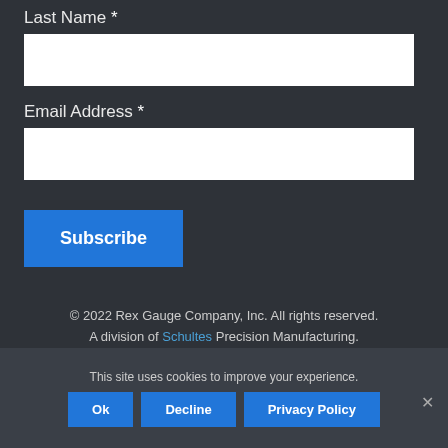Last Name *
[Figure (other): Empty text input field for Last Name]
Email Address *
[Figure (other): Empty text input field for Email Address]
Subscribe
© 2022 Rex Gauge Company, Inc. All rights reserved. A division of Schultes Precision Manufacturing.
This site uses cookies to improve your experience.
Ok   Decline   Privacy Policy